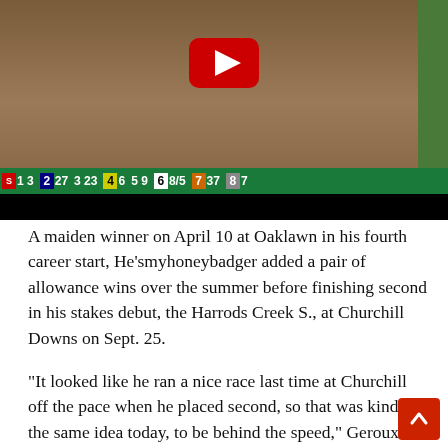[Figure (screenshot): YouTube video screenshot of horse race at Oaklawn with scoreboard showing odds: S 1 3, 2 27, 3 23, 4 6, 5 9, 6 8/5, 7 37, 8 7]
A maiden winner on April 10 at Oaklawn in his fourth career start, He’smyhoneybadger added a pair of allowance wins over the summer before finishing second in his stakes debut, the Harrods Creek S., at Churchill Downs on Sept. 25.
“It looked like he ran a nice race last time at Churchill off the pace when he placed second, so that was kind of the same idea today, to be behind the speed,” Geroux said. “This h is not really quick early on, so we just found a nice rhyth the speed in the turn, and he showed a lot of grit and